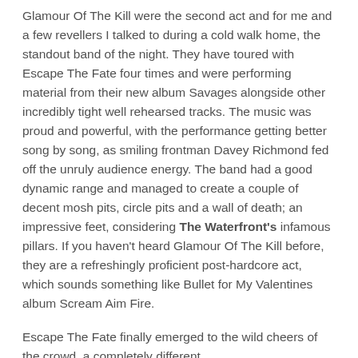Glamour Of The Kill were the second act and for me and a few revellers I talked to during a cold walk home, the standout band of the night. They have toured with Escape The Fate four times and were performing material from their new album Savages alongside other incredibly tight well rehearsed tracks. The music was proud and powerful, with the performance getting better song by song, as smiling frontman Davey Richmond fed off the unruly audience energy. The band had a good dynamic range and managed to create a couple of decent mosh pits, circle pits and a wall of death; an impressive feet, considering The Waterfront's infamous pillars. If you haven't heard Glamour Of The Kill before, they are a refreshingly proficient post-hardcore act, which sounds something like Bullet for My Valentines album Scream Aim Fire.
Escape The Fate finally emerged to the wild cheers of the crowd, a completely different